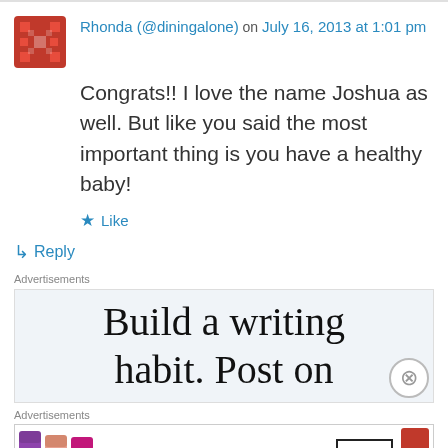Rhonda (@diningalone) on July 16, 2013 at 1:01 pm
Congrats!! I love the name Joshua as well. But like you said the most important thing is you have a healthy baby!
★ Like
↳ Reply
Advertisements
[Figure (screenshot): Advertisement banner showing text 'Build a writing habit. Post on']
Advertisements
[Figure (screenshot): MAC cosmetics advertisement showing lipsticks with SHOP NOW button]